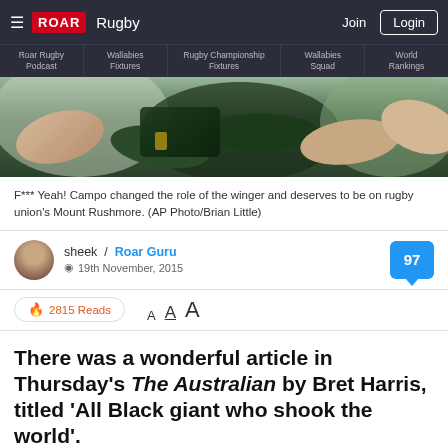≡ ROAR  Rugby   Join  Login
Roar Rugby Podcast | Wallabies Fixtures | Rugby Championship Fixtures | Wallabies Squad | World Rankings
[Figure (photo): Close-up photo of rugby players' arms and torsos during a match, showing jerseys and hands gripping]
F*** Yeah! Campo changed the role of the winger and deserves to be on rugby union's Mount Rushmore. (AP Photo/Brian Little)
sheek / Roar Guru
19th November, 2015
🔥 2815 Reads   A A A
There was a wonderful article in Thursday's The Australian by Bret Harris, titled 'All Black giant who shook the world'.
CLOSE